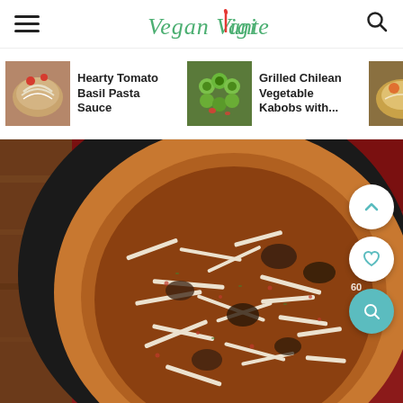Vegan Vigilante
[Figure (screenshot): Horizontal scrollable article strip with three visible recipe items: 'Hearty Tomato Basil Pasta Sauce', 'Grilled Chilean Vegetable Kabobs with...', and 'Vegan Tom... Zucch... Ta... w/ Creamy...' each with a thumbnail image on the left.]
[Figure (photo): Close-up photo of a vegan pizza with shredded white vegan cheese, roasted mushrooms, red pepper flakes, and herbs on a golden-brown crust, served on a dark round pan on a red background.]